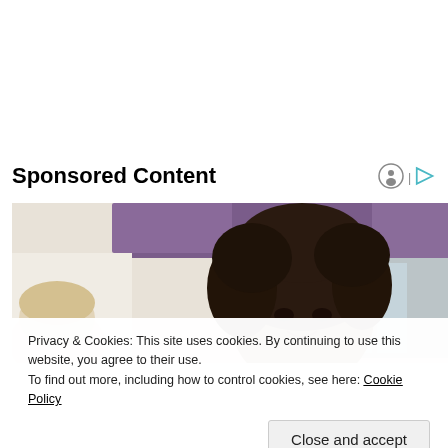Sponsored Content
[Figure (photo): Photo of a young woman with curly hair smiling, with a blonde child partially visible on the left, purple curtain in the background]
Privacy & Cookies: This site uses cookies. By continuing to use this website, you agree to their use.
To find out more, including how to control cookies, see here: Cookie Policy
Close and accept